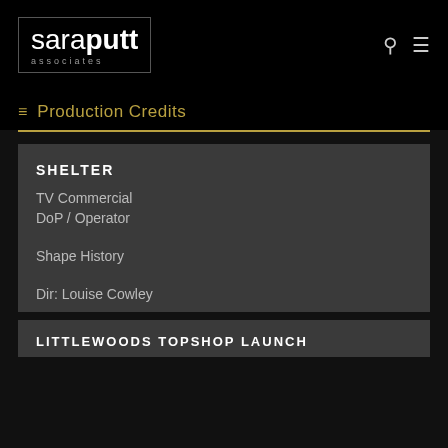saraputt associates
Production Credits
SHELTER
TV Commercial
DoP / Operator
Shape History
Dir: Louise Cowley
LITTLEWOODS TOPSHOP LAUNCH